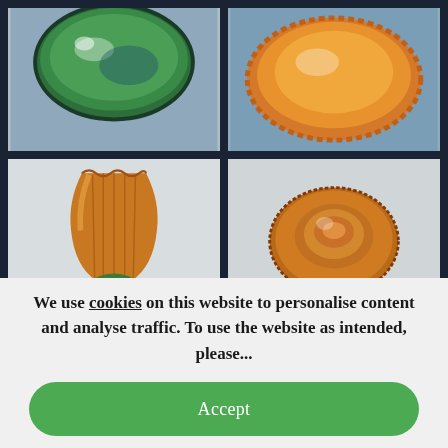[Figure (photo): Top-left: ceramic bowl with green and blue glaze, viewed from above, on blue-grey background]
[Figure (photo): Top-right: orange/amber ceramic dish with wavy ruffled rim, viewed from above, on blue-grey background]
[Figure (photo): Bottom-left: amber/yellow ribbed ceramic vase or pot with wavy rim and green base, on white background]
[Figure (photo): Bottom-right: amber ceramic dish viewed from below showing the base/foot, on white background]
We use cookies on this website to personalise content and analyse traffic. To use the website as intended, please...
Accept